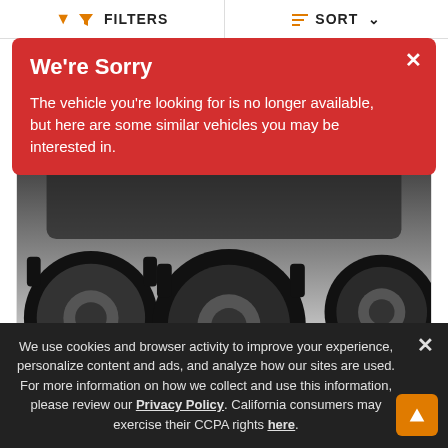FILTERS | SORT
We're Sorry

The vehicle you're looking for is no longer available, but here are some similar vehicles you may be interested in.
[Figure (photo): Close-up photo of all-terrain vehicle (ATV/UTV) undercarriage showing large knobby off-road tires against a white background]
New 2022 Polaris RZR Pro XP
$27,799
Color   White Lightning
We use cookies and browser activity to improve your experience, personalize content and ads, and analyze how our sites are used. For more information on how we collect and use this information, please review our Privacy Policy. California consumers may exercise their CCPA rights here.